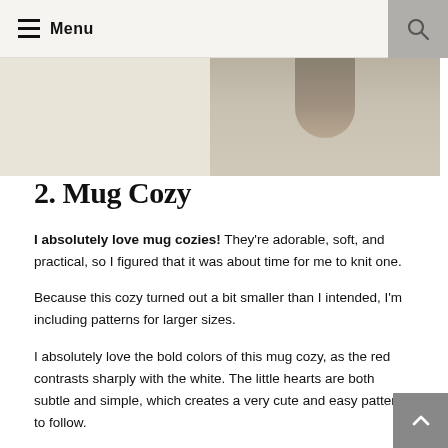Menu
[Figure (photo): Partial photo showing a mug cozy or knitted item, two-tone: left beige/cream section and right taupe/brown section with a knitted texture visible at top center]
2. Mug Cozy
I absolutely love mug cozies! They're adorable, soft, and practical, so I figured that it was about time for me to knit one.
Because this cozy turned out a bit smaller than I intended, I'm including patterns for larger sizes.
I absolutely love the bold colors of this mug cozy, as the red contrasts sharply with the white. The little hearts are both subtle and simple, which creates a very cute and easy pattern to follow.